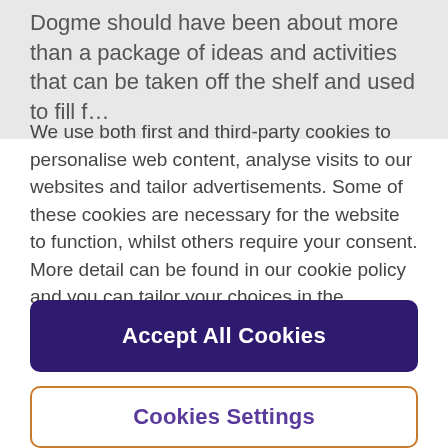Dogme should have been about more than a package of ideas and activities that can be taken off the shelf and used to fill f…
We use both first and third-party cookies to personalise web content, analyse visits to our websites and tailor advertisements. Some of these cookies are necessary for the website to function, whilst others require your consent. More detail can be found in our cookie policy and you can tailor your choices in the preference centre.
Accept All Cookies
Cookies Settings